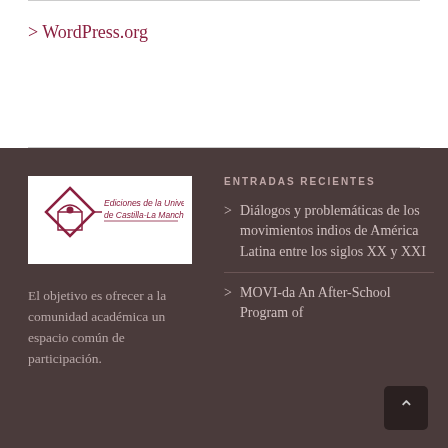> WordPress.org
[Figure (logo): Ediciones de la Universidad de Castilla-La Mancha logo with diamond/arch symbol in red]
El objetivo es ofrecer a la comunidad académica un espacio común de participación.
ENTRADAS RECIENTES
> Diálogos y problemáticas de los movimientos indios de América Latina entre los siglos XX y XXI
> MOVI-da An After-School Program of